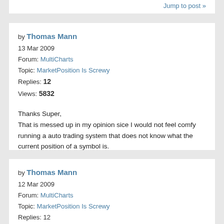Jump to post »
by Thomas Mann
13 Mar 2009
Forum: MultiCharts
Topic: MarketPosition Is Screwy
Replies: 12
Views: 5832
Thanks Super,
That is messed up in my opinion sice I would not feel comfy running a auto trading system that does not know what the current position of a symbol is.
Jump to post »
by Thomas Mann
12 Mar 2009
Forum: MultiCharts
Topic: MarketPosition Is Screwy
Replies: 12